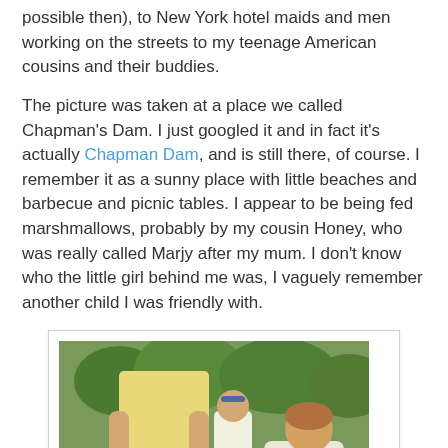possible then), to New York hotel maids and men working on the streets to my teenage American cousins and their buddies.
The picture was taken at a place we called Chapman's Dam. I just googled it and in fact it's actually Chapman Dam, and is still there, of course. I remember it as a sunny place with little beaches and barbecue and picnic tables. I appear to be being fed marshmallows, probably by my cousin Honey, who was really called Marjy after my mum. I don't know who the little girl behind me was, I vaguely remember another child I was friendly with.
[Figure (photo): Vintage outdoor photograph showing a child being fed marshmallows by an adult in a yellow shirt, with another child visible in the background among trees.]